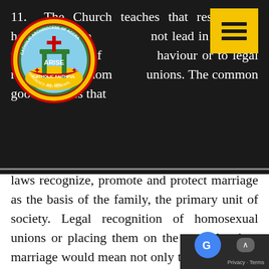11. The Church teaches that respect for homosexual persons does not lead in any way to approval of homosexual behaviour or to legal recognition of homosexual unions. The common good requires that laws recognize, promote and protect marriage as the basis of the family, the primary unit of society. Legal recognition of homosexual unions or placing them on the same level as marriage would mean not only the approval of deviant behaviour, with the consequence of making it a model in present-day society, but would also obscure basic values which belong to the common inheritance of humanity. The Church cannot fail to defend these values, for the good of men and women and for the good of society itself.